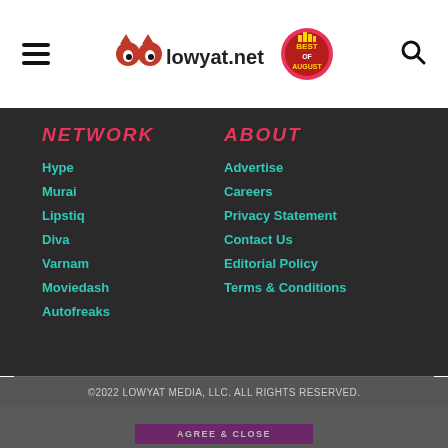lowyat.net
NETWORK
Hype
Murai
Lipstiq
Diva
Varnam
Moviedash
Autofreaks
ABOUT
Advertise
Careers
Privacy Statement
Contact Us
Editorial Policy
Terms & Conditions
©2022 LOWYAT MEDIA, LLC. ALL RIGHTS RESERVED.
We use cookies to improve your experience. Learn more
AGREE & CLOSE